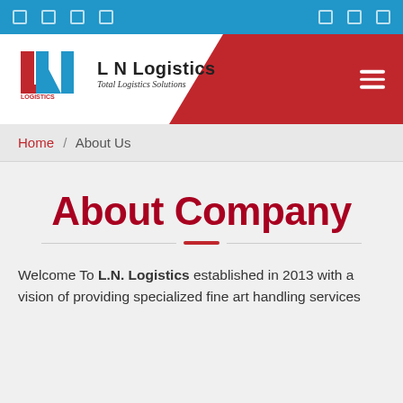Navigation icons top bar
[Figure (logo): L N Logistics logo with red and blue LN monogram and tagline 'Total Logistics Solutions']
Home / About Us
About Company
Welcome To L.N. Logistics established in 2013 with a vision of providing specialized fine art handling services